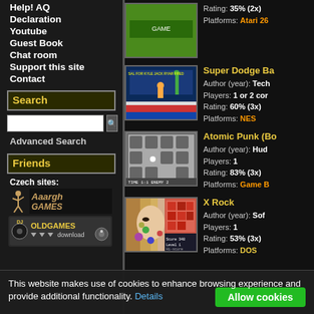Help! AQ
Declaration
Youtube
Guest Book
Chat room
Support this site
Contact
Search
Advanced Search
Friends
Czech sites:
[Figure (logo): Aaargh Games logo]
[Figure (logo): DJ OldGames download logo]
Rating: 35% (2x)
Platforms: Atari 26
Super Dodge Ba
Author (year): Tech
Players: 1 or 2 cor
Rating: 60% (3x)
Platforms: NES
Atomic Punk (Bo
Author (year): Hud
Players: 1
Rating: 83% (3x)
Platforms: Game B
X Rock
Author (year): Sof
Players: 1
Rating: 53% (3x)
Platforms: DOS
This website makes use of cookies to enhance browsing experience and provide additional functionality. Details
Allow cookies